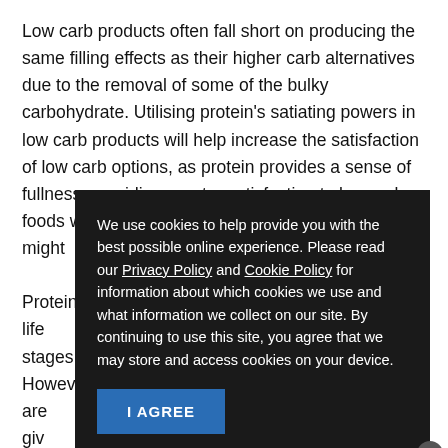Low carb products often fall short on producing the same filling effects as their higher carb alternatives due to the removal of some of the bulky carbohydrate. Utilising protein's satiating powers in low carb products will help increase the satisfaction of low carb options, as protein provides a sense of fullness, providing greater satisfaction to low carb foods which otherwise might [obscured by modal] all life stages [obscured] However [obscured] lation are given [obscured] quate protein [obscured] ng recogn[obscured] e age, protei[obscured] ing maint[obscured] in's role in [obscured] ducing
[Figure (screenshot): Cookie consent modal with dark background. Text reads: 'We use cookies to help provide you with the best possible online experience. Please read our Privacy Policy and Cookie Policy for information about which cookies we use and what information we collect on our site. By continuing to use this site, you agree that we may store and access cookies on your device.' A blue 'I AGREE' button is shown, and a small close (x) button in the bottom-right corner of the modal.]